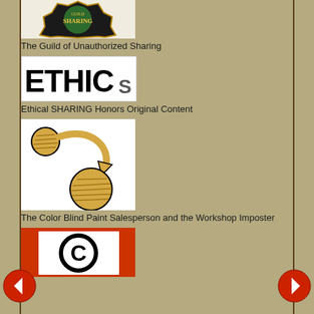[Figure (logo): The Guild of Unauthorized Sharing logo - badge/emblem with decorative border]
The Guild of Unauthorized Sharing
[Figure (logo): ETHICS logo with large block letters and smaller 's']
Ethical SHARING Honors Original Content
[Figure (illustration): The Color Blind Paint Salesperson and the Workshop Imposter - two orange/gold circles with arrows suggesting movement/exchange]
The Color Blind Paint Salesperson and the Workshop Imposter
[Figure (logo): Copyright symbol (C in circle) on orange/red background]
[Figure (illustration): Left navigation arrow - red circle with white left arrow]
[Figure (illustration): Right navigation arrow - red circle with white right arrow]